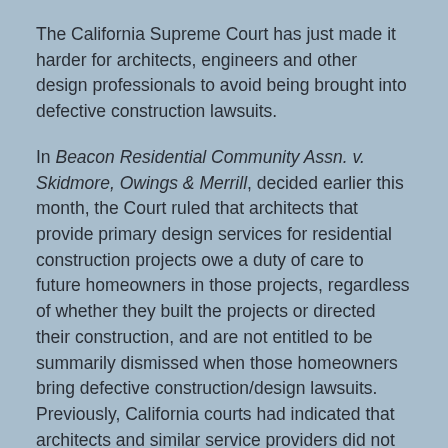The California Supreme Court has just made it harder for architects, engineers and other design professionals to avoid being brought into defective construction lawsuits.
In Beacon Residential Community Assn. v. Skidmore, Owings & Merrill, decided earlier this month, the Court ruled that architects that provide primary design services for residential construction projects owe a duty of care to future homeowners in those projects, regardless of whether they built the projects or directed their construction, and are not entitled to be summarily dismissed when those homeowners bring defective construction/design lawsuits. Previously, California courts had indicated that architects and similar service providers did not owe a duty of care to the ultimate house buyers—in other words, an architect's conduct in the performance of its professional services would not be